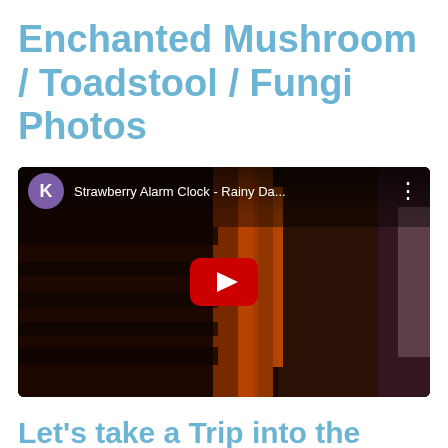Enchanted Mushroom / Toadstool / Fungi Photos
[Figure (screenshot): YouTube video embed showing 'Strawberry Alarm Clock - Rainy Da...' with a purple avatar circle with letter K, dark moody background image, and a red YouTube play button in the center.]
Let's take a Trip into the Magical